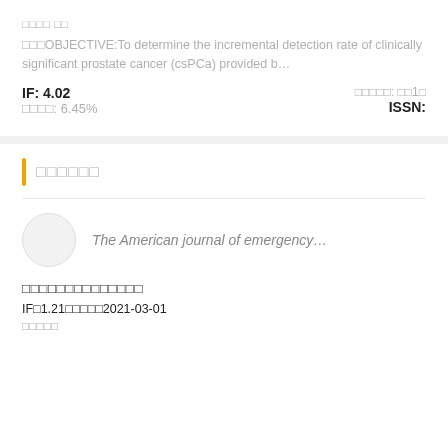□□□□ □□
□□□OBJECTIVE:To determine the incremental detection rate of clinically significant prostate cancer (csPCa) provided b…
IF: 4.02
□□□□: 6.45%
□□□□□: □□1□
ISSN:
□□□□□□
The American journal of emergency…
□□□□□□□□□□□□□□
IF□1.21□□□□□2021-03-01
□□□□□